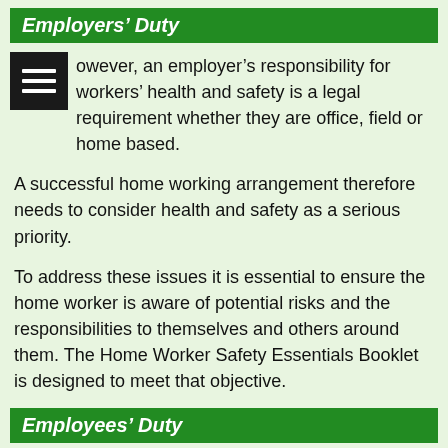Employers' Duty
However, an employer's responsibility for workers' health and safety is a legal requirement whether they are office, field or home based.
A successful home working arrangement therefore needs to consider health and safety as a serious priority.
To address these issues it is essential to ensure the home worker is aware of potential risks and the responsibilities to themselves and others around them. The Home Worker Safety Essentials Booklet is designed to meet that objective.
Employees' Duty
Health and safety legislation also imposes responsibilities on the employee. i.e. to make their own home a safe and healthy working environment. To meet this need 'The Home Worker Safety Essentials Booklet' has been designed to provide essential information to employees on the following risks: